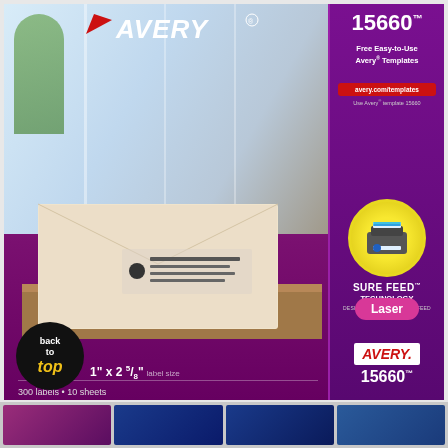[Figure (photo): Avery 15660 Matte Clear Address Labels product packaging. Purple/dark magenta box showing envelopes with clear address labels applied, Avery logo at top, product number 15660, Sure Feed Technology badge, Laser designation, 1 inch x 2-5/8 inch label size, 300 labels / 10 sheets. Right panel has purple background with product details. Bottom strip shows thumbnail product images.]
15660
Free Easy-to-Use Avery® Templates
avery.com/templates
Use Avery® template 15660
SURE FEED™ TECHNOLOGY DESIGNED FOR A RELIABLE FEED
Laser
AVERY
15660
back to top
1" x 2 5/8" label size
300 labels • 10 sheets
Matte Clear
Address Labels